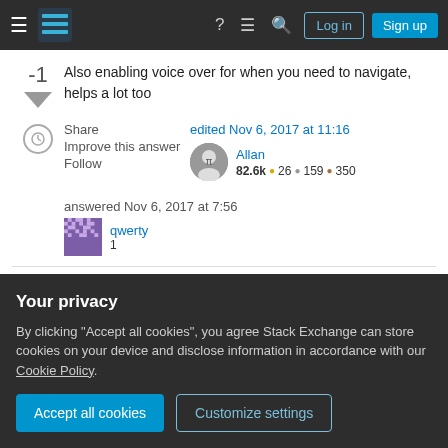Stack Exchange navigation bar with Log in and Sign up buttons
Also enabling voice over for when you need to navigate, helps a lot too
Share  Improve this answer  Follow  |  edited Nov 6, 2017 at 11:16  Allan 82.6k ● 26 ● 159 ● 350  |  answered Nov 6, 2017 at 7:56  qwerty 1
2   ctrl+alt+space serves as an Enter button except that it
Your privacy

By clicking "Accept all cookies", you agree Stack Exchange can store cookies on your device and disclose information in accordance with our Cookie Policy.

Accept all cookies   Customize settings